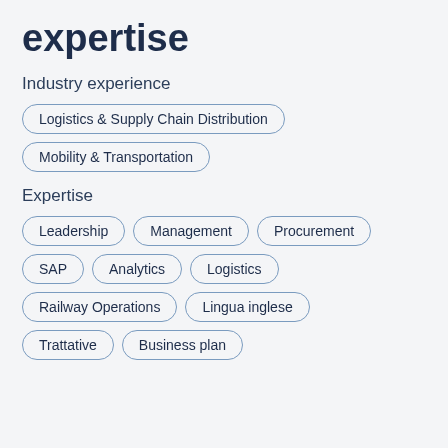expertise
Industry experience
Logistics & Supply Chain Distribution
Mobility & Transportation
Expertise
Leadership
Management
Procurement
SAP
Analytics
Logistics
Railway Operations
Lingua inglese
Trattative
Business plan